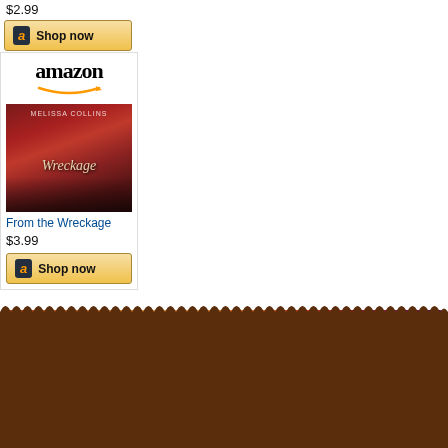$2.99
[Figure (screenshot): Amazon Shop now button with black 'a' logo on gold background]
[Figure (screenshot): Amazon widget showing book 'From the Wreckage' by Melissa Collins with book cover image, price $3.99, and Shop now button]
From the Wreckage
$3.99
[Figure (screenshot): Amazon Shop now button with black 'a' logo on gold background]
[Figure (illustration): AUDIOBOOKS banner with scalloped brown border, gradient background of orange, red, and purple hues, black film strip with yellow/white dots, and AUDIOBOOKS text in distressed white letters on black background]